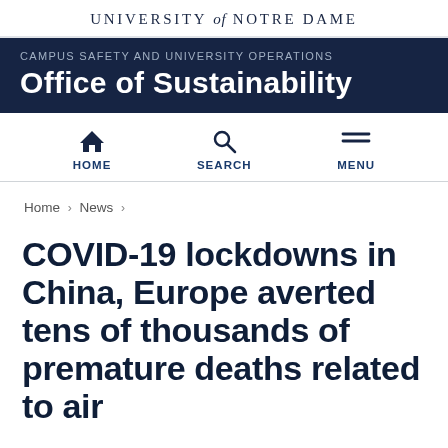UNIVERSITY of NOTRE DAME
CAMPUS SAFETY AND UNIVERSITY OPERATIONS
Office of Sustainability
[Figure (other): Navigation bar with HOME, SEARCH, and MENU icons]
Home › News ›
COVID-19 lockdowns in China, Europe averted tens of thousands of premature deaths related to air